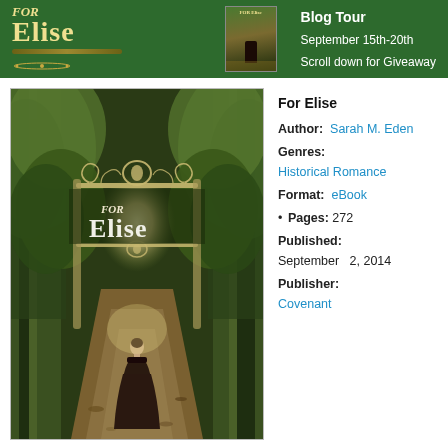[Figure (illustration): Green banner header for book tour of 'For Elise' by Sarah M. Eden. Shows title text on dark green background with book thumbnail and text 'September 15th-20th' and 'Scroll down for Giveaway'.]
[Figure (photo): Book cover of 'For Elise' showing a woman in a long dark Victorian dress standing at the end of a tree-lined path with ornate iron gate archway overhead, walking toward a bright light at the end of the tunnel of trees.]
For Elise
Author: Sarah M. Eden
Genres: Historical Romance
Format: eBook
• Pages: 272
Published: September 2, 2014
Publisher: Covenant